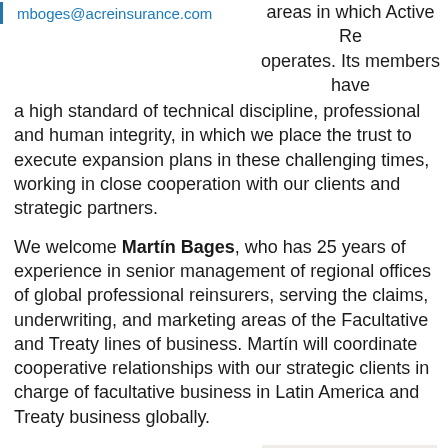mboges@acreinsurance.com
areas in which Active Re operates. Its members have a high standard of technical discipline, professional and human integrity, in which we place the trust to execute expansion plans in these challenging times, working in close cooperation with our clients and strategic partners.
We welcome Martín Bages, who has 25 years of experience in senior management of regional offices of global professional reinsurers, serving the claims, underwriting, and marketing areas of the Facultative and Treaty lines of business. Martín will coordinate cooperative relationships with our strategic clients in charge of facultative business in Latin America and Treaty business globally.
With satisfaction we also present Robert Ali, with more than 14 years of experience in Property and
[Figure (photo): Headshot photo of Robert Ali, a man in a dark suit with a light blue shirt and tie, dark short hair, smiling]